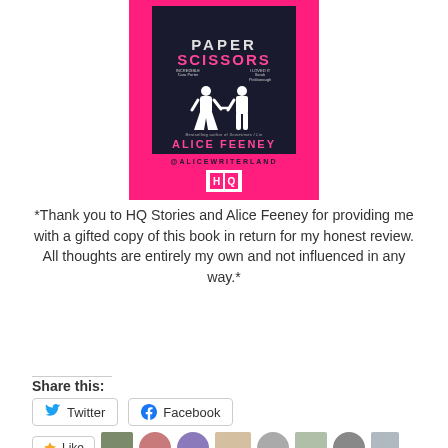[Figure (photo): Book cover of 'Rock Paper Scissors' by Alice Feeney, published by HQ. Pink background with dark center panel showing white paper-cut silhouettes of a couple holding hands. Text includes '@ALICEWRITERLAND' and HQ logo.]
*Thank you to HQ Stories and Alice Feeney for providing me with a gifted copy of this book in return for my honest review. All thoughts are entirely my own and not influenced in any way.*
Share this:
Twitter
Facebook
Like